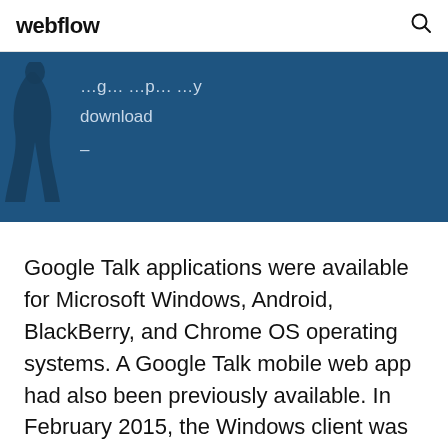webflow
[Figure (screenshot): Blue banner with partial text including the word 'download' and a dash, with a dark bird silhouette on the left]
Google Talk applications were available for Microsoft Windows, Android, BlackBerry, and Chrome OS operating systems. A Google Talk mobile web app had also been previously available. In February 2015, the Windows client was discontinued and... 11 Jul 2016 For file-oriented operations with a Google Sheet, you would use the Note that if